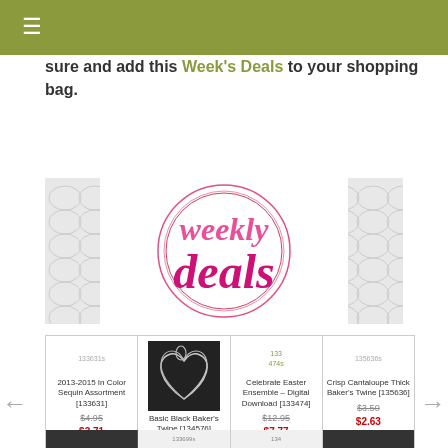☰ (navigation menu)
sure and add this Week's Deals to your shopping bag.
[Figure (logo): Weekly Deals banner with pink script text 'weekly deals' on a white background with decorative circle design]
| Product 1 | Product 2 | Product 3 | Product 4 |
| --- | --- | --- | --- |
| 133631s image | Baker's twine heart image | 133 474s image | 135636s image |
| 2013-2015 In Color Sequin Assortment [133631] | Basic Black Baker's Twine [134576] | Celebrate Easter Ensemble – Digital Download [133474] | Crisp Cantaloupe Thick Baker's Twine [135636] |
| $4.95 | $2.95 | $12.95 | $3.50 |
| $3.71 | $2.21 | $7.77 | $2.63 |